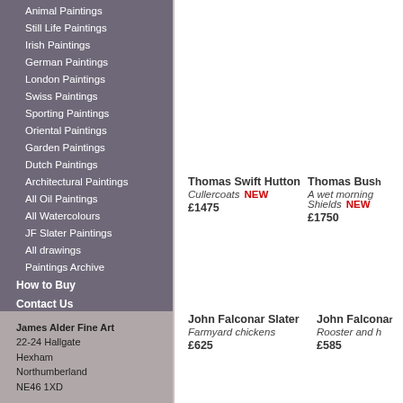Animal Paintings
Still Life Paintings
Irish Paintings
German Paintings
London Paintings
Swiss Paintings
Sporting Paintings
Oriental Paintings
Garden Paintings
Dutch Paintings
Architectural Paintings
All Oil Paintings
All Watercolours
JF Slater Paintings
All drawings
Paintings Archive
How to Buy
Contact Us
James Alder Fine Art
22-24 Hallgate
Hexham
Northumberland
NE46 1XD
Thomas Swift Hutton
Cullercoats NEW
£1475
Thomas Bush...
A wet morning... Shields NEW
£1750
John Falconar Slater
Farmyard chickens
£625
John Falcona...
Rooster and h...
£585